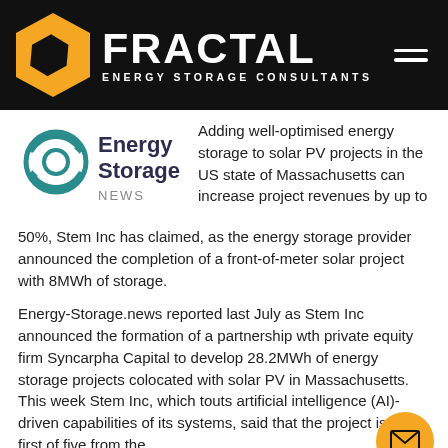FRACTAL ENERGY STORAGE CONSULTANTS
[Figure (logo): Energy Storage News logo with teal circular arrow icon and bold dark text]
Adding well-optimised energy storage to solar PV projects in the US state of Massachusetts can increase project revenues by up to 50%, Stem Inc has claimed, as the energy storage provider announced the completion of a front-of-meter solar project with 8MWh of storage.
Energy-Storage.news reported last July as Stem Inc announced the formation of a partnership wth private equity firm Syncarpha Capital to develop 28.2MWh of energy storage projects colocated with solar PV in Massachusetts. This week Stem Inc, which touts artificial intelligence (AI)-driven capabilities of its systems, said that the project is the first of five from the